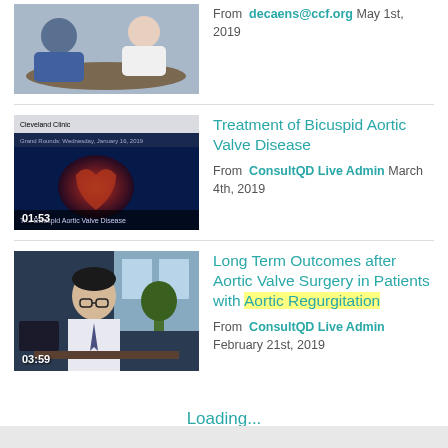[Figure (screenshot): Video thumbnail showing two people at a table, duration 13:51]
From decaens@ccf.org May 1st, 2019
[Figure (screenshot): Video thumbnail of Cleveland Clinic cardiac imaging, Grand Rounds Wednesday January 16 2019, Treatment of Bicuspid Aortic Valve Disease, duration 01:53]
Treatment of Bicuspid Aortic Valve Disease
From ConsultQD Live Admin March 4th, 2019
[Figure (screenshot): Video thumbnail of a man in white shirt and tie at a desk, duration 03:59]
Long Term Outcomes after Aortic Valve Surgery in Patients with Aortic Regurgitation
From ConsultQD Live Admin February 21st, 2019
Loading...